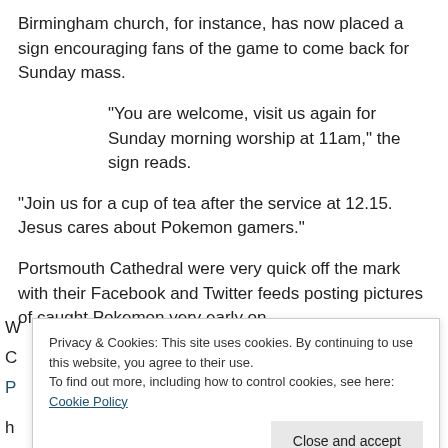Birmingham church, for instance, has now placed a sign encouraging fans of the game to come back for Sunday mass.
“You are welcome, visit us again for Sunday morning worship at 11am,” the sign reads.
“Join us for a cup of tea after the service at 12.15. Jesus cares about Pokemon gamers.”
Portsmouth Cathedral were very quick off the mark with their Facebook and Twitter feeds posting pictures of caught Pokemon very early on.
Privacy & Cookies: This site uses cookies. By continuing to use this website, you agree to their use.
To find out more, including how to control cookies, see here: Cookie Policy
Close and accept